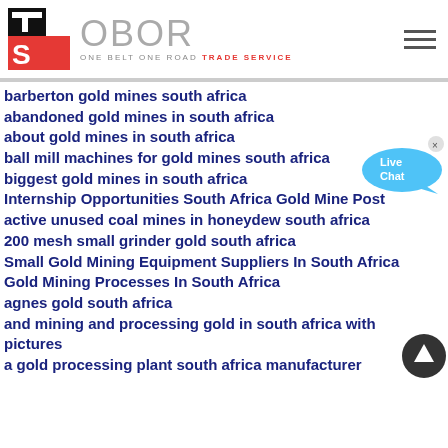[Figure (logo): OBOR Trade Service logo with TS icon in black and red, followed by OBOR text in grey with tagline ONE BELT ONE ROAD TRADE SERVICE]
barberton gold mines south africa
abandoned gold mines in south africa
about gold mines in south africa
ball mill machines for gold mines south africa
biggest gold mines in south africa
Internship Opportunities South Africa Gold Mine Post
active unused coal mines in honeydew south africa
200 mesh small grinder gold south africa
Small Gold Mining Equipment Suppliers In South Africa
Gold Mining Processes In South Africa
agnes gold south africa
and mining and processing gold in south africa with pictures
a gold processing plant south africa manufacturer